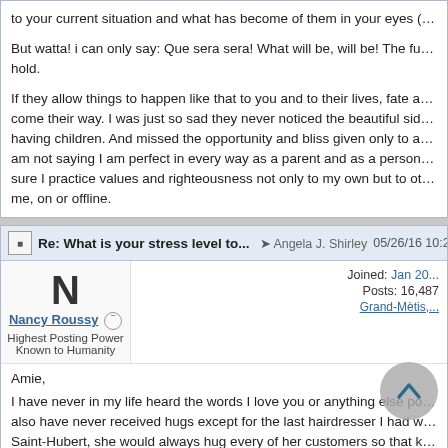to your current situation and what has become of them in your eyes (mon...
But watta! i can only say: Que sera sera! What will be, will be! The future's hold.
If they allow things to happen like that to you and to their lives, fate and de... come their way. I was just so sad they never noticed the beautiful side of p... having children. And missed the opportunity and bliss given only to a few i... am not saying I am perfect in every way as a parent and as a person but I... sure I practice values and righteousness not only to my own but to other p... me, on or offline.
I wish and pray good things for you Nancy as well as your parents and oth... who are in the same shoe like you.
Re: What is your stress level to... → Angela J. Shirley 05/26/16 10:28 A...
Nancy Roussy
Highest Posting Power Known to Humanity
Joined: Jan 20...
Posts: 16,487
Grand-Mètis,...
Amie,
I have never in my life heard the words I love you or anything else positive... also have never received hugs except for the last hairdresser I had when w... Saint-Hubert, she would always hug every of her customers so that kind o...